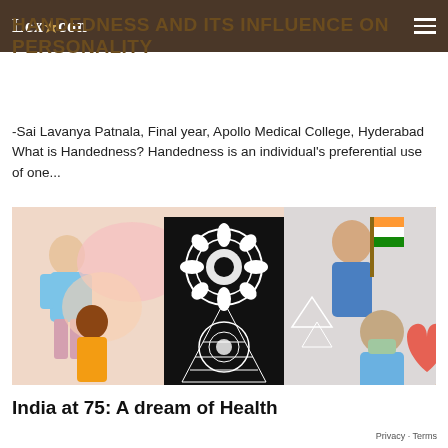Lexicon
HANDEDNESS AND ITS INFLUENCE ON PERSONALITY
-Sai Lavanya Patnala, Final year, Apollo Medical College, Hyderabad What is Handedness? Handedness is an individual's preferential use of one...
[Figure (illustration): Colorful illustration showing diverse people with a decorative mandala/black-and-white zentangle pattern in the center, with a doctor, a person holding the Indian flag, and various culturally diverse figures]
India at 75: A dream of Health